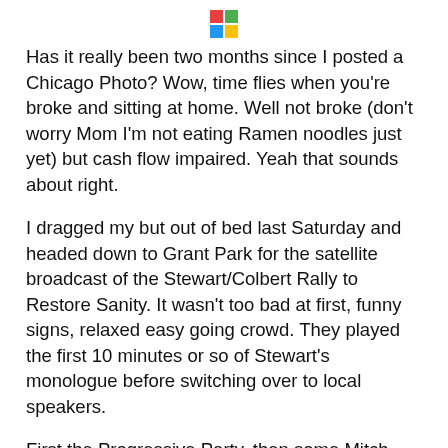[Colorful logo icon]
Has it really been two months since I posted a Chicago Photo? Wow, time flies when you're broke and sitting at home. Well not broke (don't worry Mom I'm not eating Ramen noodles just yet) but cash flow impaired. Yeah that sounds about right.
I dragged my but out of bed last Saturday and headed down to Grant Park for the satellite broadcast of the Stewart/Colbert Rally to Restore Sanity. It wasn't too bad at first, funny signs, relaxed easy going crowd. They played the first 10 minutes or so of Stewart's monologue before switching over to local speakers.
First the Progressive Party, then some Mitch Hedburg wannabe comedian who closed his act comparing abortion to making a sandwich (which the crowd booed, which brought a security guard to the mike who cursed out the crowd), then someone dressed as FDR and I finally left when the immigration guy started speaking.